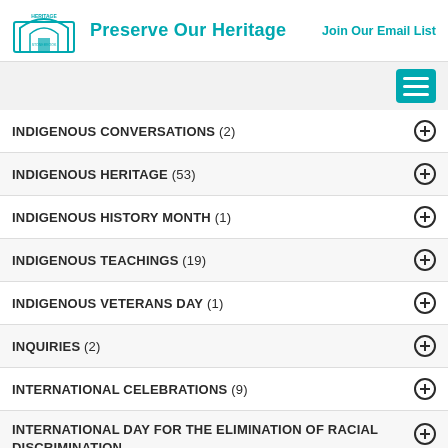Preserve Our Heritage | Join Our Email List
INDIGENOUS CONVERSATIONS (2)
INDIGENOUS HERITAGE (53)
INDIGENOUS HISTORY MONTH (1)
INDIGENOUS TEACHINGS (19)
INDIGENOUS VETERANS DAY (1)
INQUIRIES (2)
INTERNATIONAL CELEBRATIONS (9)
INTERNATIONAL DAY FOR THE ELIMINATION OF RACIAL DISCRIMINATION